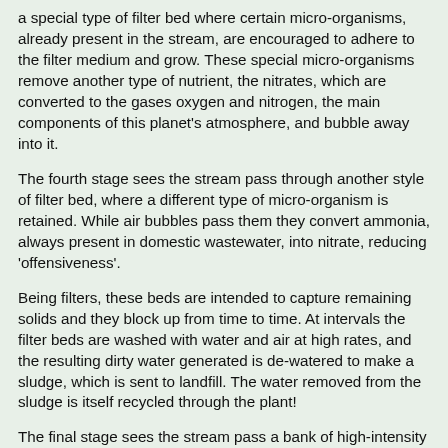a special type of filter bed where certain micro-organisms, already present in the stream, are encouraged to adhere to the filter medium and grow. These special micro-organisms remove another type of nutrient, the nitrates, which are converted to the gases oxygen and nitrogen, the main components of this planet's atmosphere, and bubble away into it.
The fourth stage sees the stream pass through another style of filter bed, where a different type of micro-organism is retained. While air bubbles pass them they convert ammonia, always present in domestic wastewater, into nitrate, reducing 'offensiveness'.
Being filters, these beds are intended to capture remaining solids and they block up from time to time. At intervals the filter beds are washed with water and air at high rates, and the resulting dirty water generated is de-watered to make a sludge, which is sent to landfill. The water removed from the sludge is itself recycled through the plant!
The final stage sees the stream pass a bank of high-intensity ultraviolet light bulbs, which kill any residual bacteria and disable any active viruses remaining in the stream. It then passes into the Navigation at rates up to 40,000 tonnes every day.